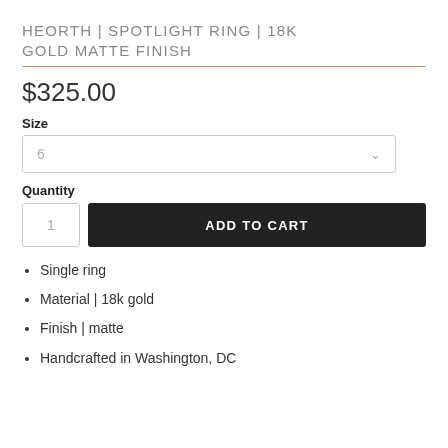HEORTH | SPOTLIGHT RING | 18K GOLD MATTE FINISH
$325.00
Size
6
Quantity
1
ADD TO CART
Single ring
Material | 18k gold
Finish | matte
Handcrafted in Washington, DC